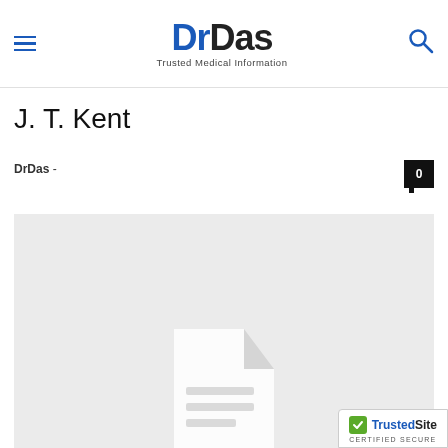DrDas - Trusted Medical Information
J. T. Kent
DrDas -
[Figure (illustration): Light grey placeholder image with a white document/file icon in the center]
We use cookies on our website to give you the most relevant experience.
Cookie Settings  Accept All
[Figure (logo): TrustedSite CERTIFIED SECURE badge]